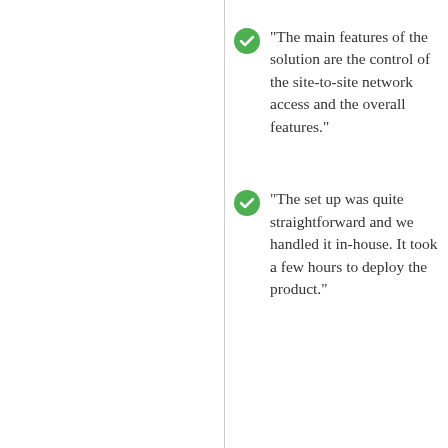"The main features of the solution are the control of the site-to-site network access and the overall features."
"The set up was quite straightforward and we handled it in-house. It took a few hours to deploy the product."